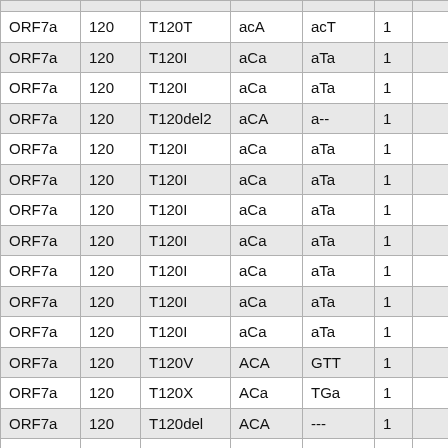| ORF7a | 120 | T120T | acA | acT | 1 |  |
| ORF7a | 120 | T120I | aCa | aTa | 1 |  |
| ORF7a | 120 | T120I | aCa | aTa | 1 |  |
| ORF7a | 120 | T120del2 | aCA | a-- | 1 |  |
| ORF7a | 120 | T120I | aCa | aTa | 1 |  |
| ORF7a | 120 | T120I | aCa | aTa | 1 |  |
| ORF7a | 120 | T120I | aCa | aTa | 1 |  |
| ORF7a | 120 | T120I | aCa | aTa | 1 |  |
| ORF7a | 120 | T120I | aCa | aTa | 1 |  |
| ORF7a | 120 | T120I | aCa | aTa | 1 |  |
| ORF7a | 120 | T120I | aCa | aTa | 1 |  |
| ORF7a | 120 | T120V | ACA | GTT | 1 |  |
| ORF7a | 120 | T120X | ACa | TGa | 1 |  |
| ORF7a | 120 | T120del | ACA | --- | 1 |  |
| ORF7a | 120 | T120del | ACA | --- | 1 |  |
| ORF7a | 120 | T120T | acA | acT | 1 |  |
| ORF7a | 120 | T120I | C... | T... | 1 |  |